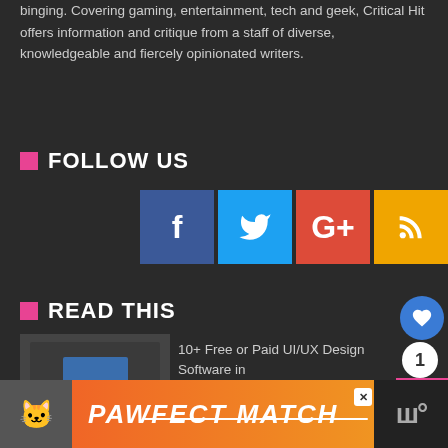binging. Covering gaming, entertainment, tech and geek, Critical Hit offers information and critique from a staff of diverse, knowledgeable and fiercely opinionated writers.
FOLLOW US
[Figure (infographic): Social media icons: Facebook (blue), Twitter (light blue), Google+ (red), RSS (orange/yellow)]
READ THIS
[Figure (screenshot): Thumbnail image for UI/UX design software article]
10+ Free or Paid UI/UX Design Software in
What is a Modem and Why Do You Get Internet?
[Figure (infographic): PAWFECT MATCH advertisement banner with cat image]